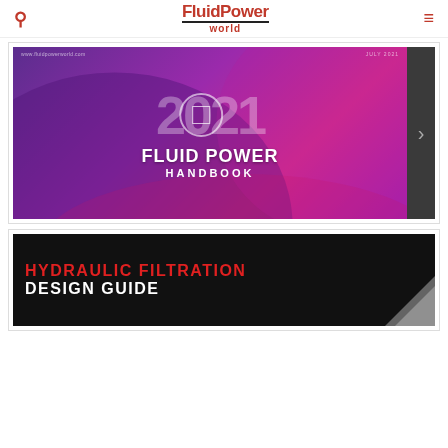FluidPower world
[Figure (screenshot): 2021 Fluid Power Handbook magazine cover displayed in a slideshow viewer with a purple/magenta gradient background, showing '2021 FLUID POWER HANDBOOK' text and a play button icon, with a right navigation arrow.]
[Figure (screenshot): Hydraulic Filtration Design Guide banner with red title text 'HYDRAULIC FILTRATION' and white text 'DESIGN GUIDE' on a black background.]